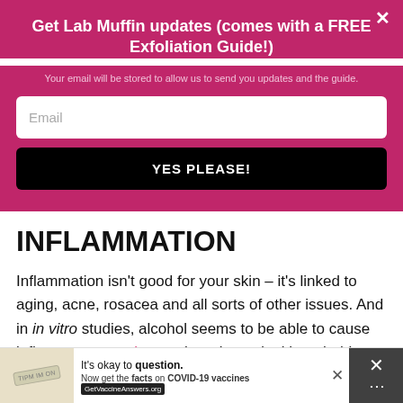Get Lab Muffin updates (comes with a FREE Exfoliation Guide!)
Your email will be stored to allow us to send you updates and the guide.
Email
YES PLEASE!
INFLAMMATION
Inflammation isn't good for your skin – it's linked to aging, acne, rosacea and all sorts of other issues. And in in vitro studies, alcohol seems to be able to cause inflammatory markers to be released, although this doesn't always seem to be
[Figure (screenshot): Ad banner: It's okay to question. Now get the facts on COVID-19 vaccines. GetVaccineAnswers.org]